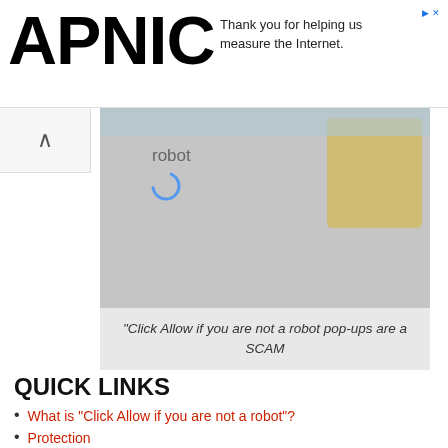APNIC — Thank you for helping us measure the Internet.
[Figure (screenshot): Partial screenshot of a webpage showing a fake CAPTCHA robot verification image with a toy figure, text 'robot' and a spinner icon, on a gray background.]
“Click Allow if you are not a robot pop-ups are a SCAM
QUICK LINKS
What is “Click Allow if you are not a robot”?
Protection
Removal
The scam shows a fake captcha test, the “Click Allow if you are not a robot” message encouraging victims to click on the “Allow” button to prove that they are humans/not robots. The scam is intended